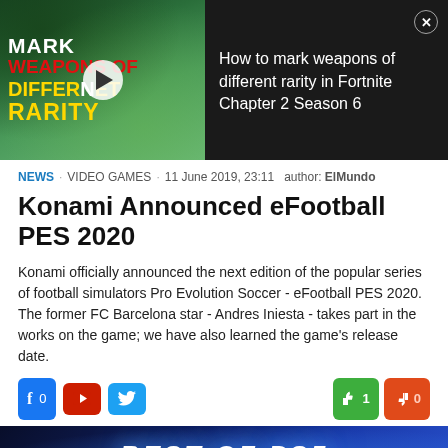[Figure (screenshot): Video thumbnail for 'How to mark weapons of different rarity in Fortnite Chapter 2 Season 6' with play button, dark background, red/yellow text overlay on left, and title text on right with close button]
NEWS · VIDEO GAMES · 11 June 2019, 23:11   author: ElMundo
Konami Announced eFootball PES 2020
Konami officially announced the next edition of the popular series of football simulators Pro Evolution Soccer - eFootball PES 2020. The former FC Barcelona star - Andres Iniesta - takes part in the works on the game; we have also learned the game's release date.
[Figure (screenshot): Social sharing buttons: Facebook (0), YouTube, Twitter on left; thumbs up (1) and thumbs down (0) on right]
[Figure (screenshot): Bottom banner image with 'BEST OF PS5' text on blue background]